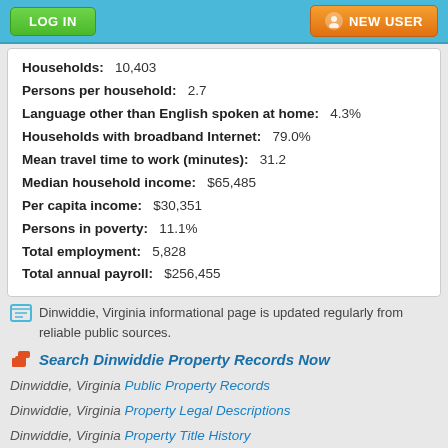LOG IN | NEW USER
Households: 10,403
Persons per household: 2.7
Language other than English spoken at home: 4.3%
Households with broadband Internet: 79.0%
Mean travel time to work (minutes): 31.2
Median household income: $65,485
Per capita income: $30,351
Persons in poverty: 11.1%
Total employment: 5,828
Total annual payroll: $256,455
Dinwiddie, Virginia informational page is updated regularly from reliable public sources.
Search Dinwiddie Property Records Now
Dinwiddie, Virginia Public Property Records
Dinwiddie, Virginia Property Legal Descriptions
Dinwiddie, Virginia Property Title History